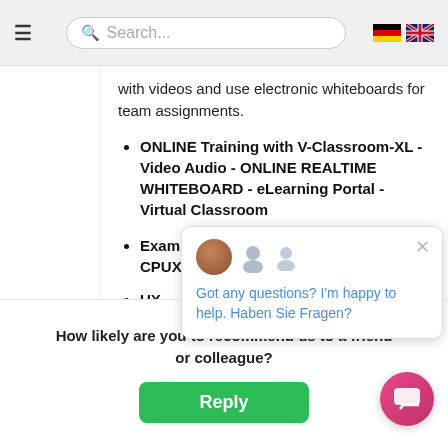Search...
with videos and use electronic whiteboards for team assignments.
ONLINE Training with V-Classroom-XL - Video Audio - ONLINE REALTIME WHITEBOARD - eLearning Portal - Virtual Classroom
Exam preparation training for UXQB® CPUX-F... tion
UX ... Inte... Exp... exe...
Got any questions? I'm happy to help. Haben Sie Fragen?
How likely are you to recommend us to a friend or colleague?